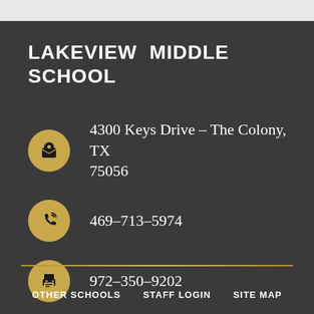LAKEVIEW MIDDLE SCHOOL
4300 Keys Drive - The Colony, TX 75056
469-713-5974
972-350-9202
OTHER SCHOOLS   STAFF LOGIN   SITE MAP